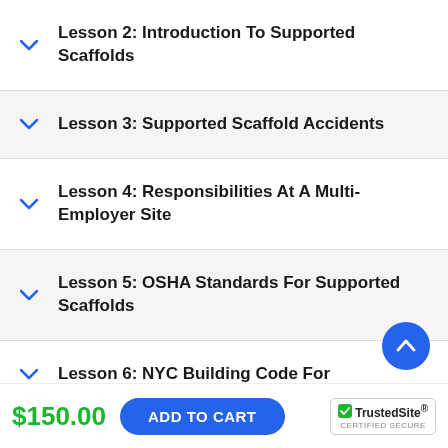Lesson 2: Introduction To Supported Scaffolds
Lesson 3: Supported Scaffold Accidents
Lesson 4: Responsibilities At A Multi-Employer Site
Lesson 5: OSHA Standards For Supported Scaffolds
Lesson 6: NYC Building Code For
$150.00
ADD TO CART
TrustedSite CERTIFIED SECURE